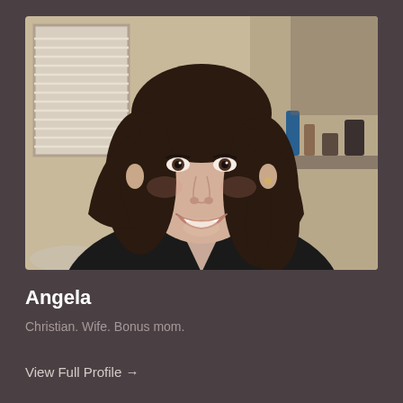[Figure (photo): A woman with dark curly hair smiling at the camera, wearing a black v-neck top. She is taking a selfie in what appears to be a room with white window blinds and a vanity/desk area visible in the background.]
Angela
Christian. Wife. Bonus mom.
View Full Profile →